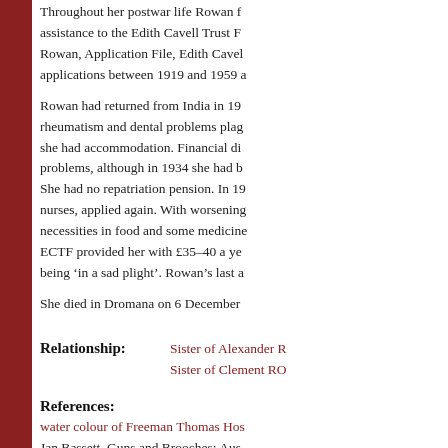Throughout her postwar life Rowan f... assistance to the Edith Cavell Trust F... Rowan, Application File, Edith Cavel... applications between 1919 and 1959 a...
Rowan had returned from India in 19... rheumatism and dental problems plag... she had accommodation. Financial di... problems, although in 1934 she had b... She had no repatriation pension. In 19... nurses, applied again. With worsening... necessities in food and some medicine... ECTF provided her with £35–40 a ye... being 'in a sad plight'. Rowan's last a...
She died in Dromana on 6 December
Relationship: Sister of Alexander R... Sister of Clement RO...
References:
water colour of Freeman Thomas Hos...
Jan Bassett, Guns and Brooches: Aus...
Ruth Rae, 'Reading between unwritte... War Memorial
Kirsty Harris, More than Bombs and ...